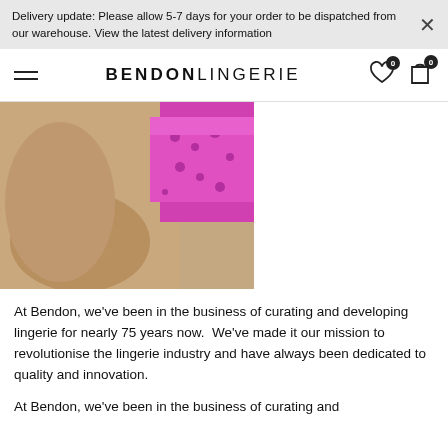Delivery update: Please allow 5-7 days for your order to be dispatched from our warehouse. View the latest delivery information
BENDON LINGERIE
[Figure (photo): Close-up photo of a model wearing bright pink/magenta animal-print lingerie bikini bottom, showing torso and legs against a grey background.]
At Bendon, we've been in the business of curating and developing lingerie for nearly 75 years now.  We've made it our mission to revolutionise the lingerie industry and have always been dedicated to quality and innovation.
At Bendon, we've been in the business of curating and